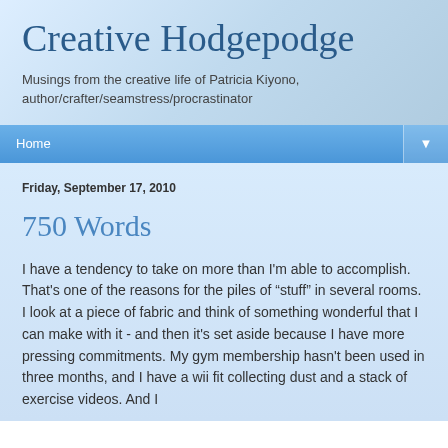Creative Hodgepodge
Musings from the creative life of Patricia Kiyono, author/crafter/seamstress/procrastinator
Home ▼
Friday, September 17, 2010
750 Words
I have a tendency to take on more than I'm able to accomplish. That's one of the reasons for the piles of “stuff” in several rooms. I look at a piece of fabric and think of something wonderful that I can make with it - and then it's set aside because I have more pressing commitments. My gym membership hasn't been used in three months, and I have a wii fit collecting dust and a stack of exercise videos. And I